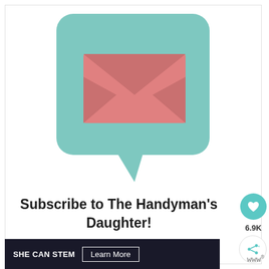[Figure (illustration): A teal/mint speech bubble icon containing a pink envelope/mail icon, representing email subscription.]
Subscribe to The Handyman's Daughter!
6.9K
SHE CAN STEM  Learn More